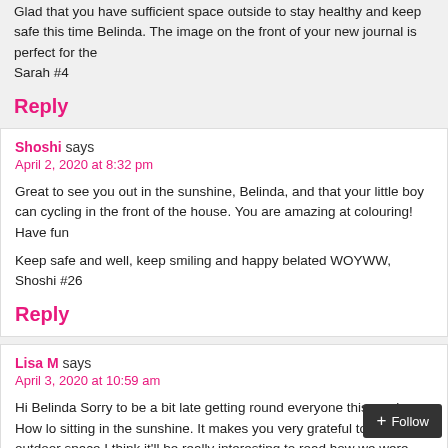Glad that you have sufficient space outside to stay healthy and keep safe this time Belinda. The image on the front of your new journal is perfect for the Sarah #4
Reply
Shoshi says
April 2, 2020 at 8:32 pm
Great to see you out in the sunshine, Belinda, and that your little boy can cycling in the front of the house. You are amazing at colouring! Have fun
Keep safe and well, keep smiling and happy belated WOYWW,
Shoshi #26
Reply
Lisa M says
April 3, 2020 at 10:59 am
Hi Belinda Sorry to be a bit late getting round everyone this week. How lo sitting in the sunshine. It makes you very grateful to have outdoor space I think it'll be really interesting to read how we were feeling in something similar but taking photos too.